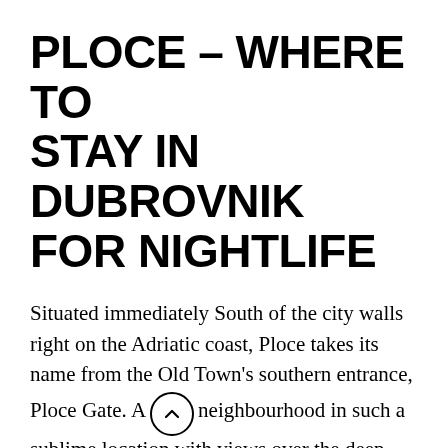PLOCE – WHERE TO STAY IN DUBROVNIK FOR NIGHTLIFE
Situated immediately South of the city walls right on the Adriatic coast, Ploce takes its name from the Old Town's southern entrance, Ploce Gate. A neighbourhood in such a sublime location with views over the deep blue waters, you can imagine that the most prestigious hotels are going to be here